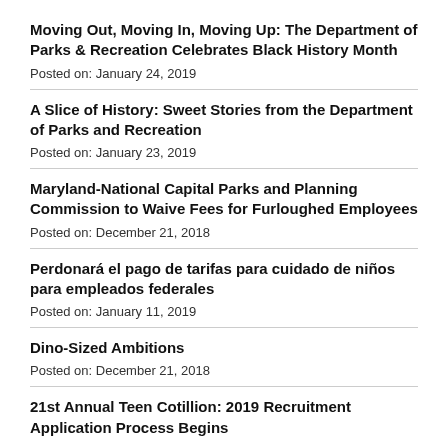Moving Out, Moving In, Moving Up: The Department of Parks & Recreation Celebrates Black History Month
Posted on: January 24, 2019
A Slice of History: Sweet Stories from the Department of Parks and Recreation
Posted on: January 23, 2019
Maryland-National Capital Parks and Planning Commission to Waive Fees for Furloughed Employees
Posted on: December 21, 2018
Perdonará el pago de tarifas para cuidado de niños para empleados federales
Posted on: January 11, 2019
Dino-Sized Ambitions
Posted on: December 21, 2018
21st Annual Teen Cotillion: 2019 Recruitment Application Process Begins